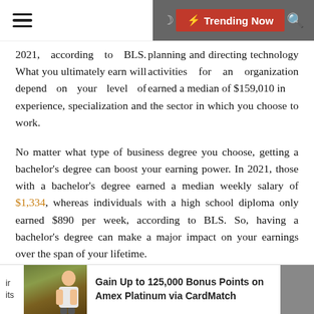☰  ☽  ⚡ Trending Now  🔍
planning and directing technology activities for an organization earned a median of $159,010 in 2021, according to BLS. What you ultimately earn will depend on your level of experience, specialization and the sector in which you choose to work.
No matter what type of business degree you choose, getting a bachelor's degree can boost your earning power. In 2021, those with a bachelor's degree earned a median weekly salary of $1,334, whereas individuals with a high school diploma only earned $890 per week, according to BLS. So, having a bachelor's degree can make a major impact on your earnings over the span of your lifetime.
No matter what business job you decide to pursue, a
ir  its  Gain Up to 125,000 Bonus Points on Amex Platinum via CardMatch